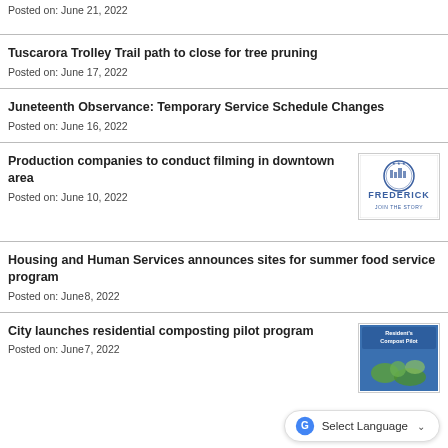Posted on: June 21, 2022
Tuscarora Trolley Trail path to close for tree pruning
Posted on: June 17, 2022
Juneteenth Observance: Temporary Service Schedule Changes
Posted on: June 16, 2022
Production companies to conduct filming in downtown area
[Figure (logo): Frederick city logo with circular seal and text FREDERICK JOIN THE STORY]
Posted on: June 10, 2022
Housing and Human Services announces sites for summer food service program
Posted on: June 8, 2022
City launches residential composting pilot program
[Figure (photo): Residential composting pilot program image with blue background]
Posted on: June 7, 2022